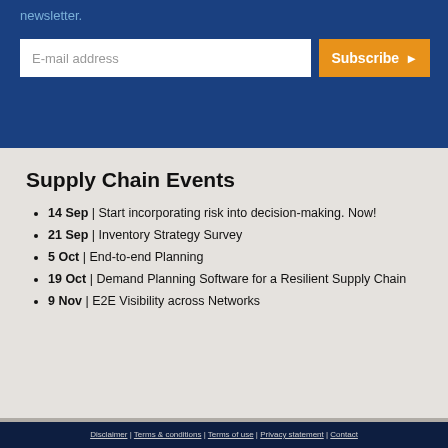newsletter.
[Figure (screenshot): Email subscription form with text input field labeled 'E-mail address' and orange 'Subscribe' button with right arrow]
Supply Chain Events
14 Sep | Start incorporating risk into decision-making. Now!
21 Sep | Inventory Strategy Survey
5 Oct | End-to-end Planning
19 Oct | Demand Planning Software for a Resilient Supply Chain
9 Nov | E2E Visibility across Networks
Disclaimer | Terms & conditions | Terms of use | Privacy statement | Contact
© 2022 Copyright SCM | Design & Realisation Mull2me...